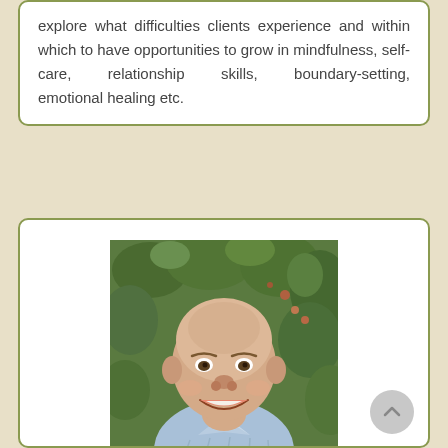explore what difficulties clients experience and within which to have opportunities to grow in mindfulness, self-care, relationship skills, boundary-setting, emotional healing etc.
[Figure (photo): Headshot of a bald man smiling, wearing a light blue collared shirt, photographed outdoors in front of green foliage.]
Psychotherapist
Tom Andre, MA